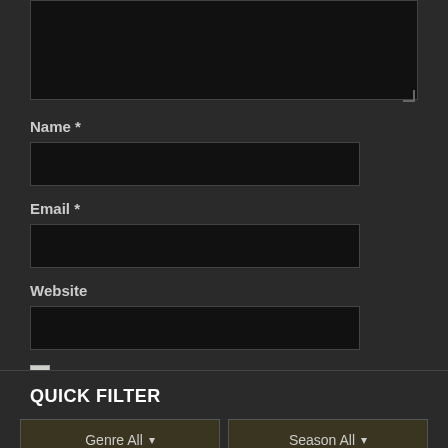[Figure (screenshot): Dark-themed web comment form with textarea (partially visible at top), Name field with asterisk, Email field with asterisk, Website field, a checkbox with label 'Save my name, email, and website in this browser for the next time I comment.', and a 'Post Comment' button]
Name *
Email *
Website
Save my name, email, and website in this browser for the next time I comment.
Post Comment
QUICK FILTER
Genre All ▾
Season All ▾